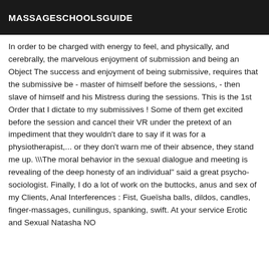MASSAGESCHOOLSGUIDE
In order to be charged with energy to feel, and physically, and cerebrally, the marvelous enjoyment of submission and being an Object The success and enjoyment of being submissive, requires that the submissive be - master of himself before the sessions, - then slave of himself and his Mistress during the sessions. This is the 1st Order that I dictate to my submissives ! Some of them get excited before the session and cancel their VR under the pretext of an impediment that they wouldn't dare to say if it was for a physiotherapist,... or they don't warn me of their absence, they stand me up. \\The moral behavior in the sexual dialogue and meeting is revealing of the deep honesty of an individual" said a great psycho-sociologist. Finally, I do a lot of work on the buttocks, anus and sex of my Clients, Anal Interferences : Fist, Gueïsha balls, dildos, candles, finger-massages, cunilingus, spanking, swift. At your service Erotic and Sexual Natasha NO